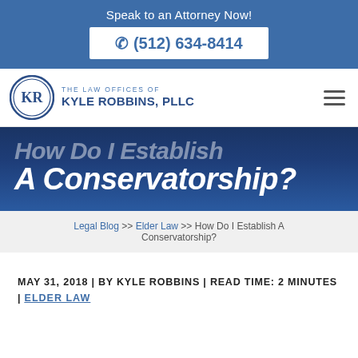Speak to an Attorney Now!
(512) 634-8414
[Figure (logo): The Law Offices of Kyle Robbins, PLLC logo with KR monogram in a circular seal]
How Do I Establish A Conservatorship?
Legal Blog >> Elder Law >> How Do I Establish A Conservatorship?
MAY 31, 2018 | BY KYLE ROBBINS | READ TIME: 2 MINUTES | ELDER LAW